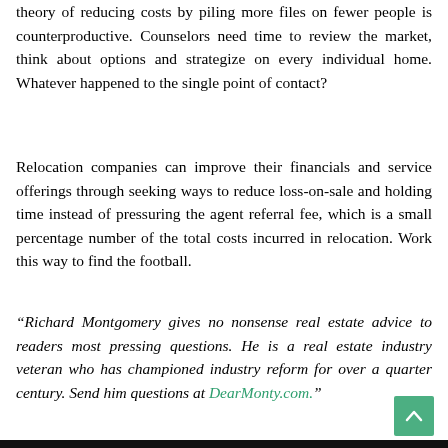theory of reducing costs by piling more files on fewer people is counterproductive. Counselors need time to review the market, think about options and strategize on every individual home. Whatever happened to the single point of contact?
Relocation companies can improve their financials and service offerings through seeking ways to reduce loss-on-sale and holding time instead of pressuring the agent referral fee, which is a small percentage number of the total costs incurred in relocation. Work this way to find the football.
“Richard Montgomery gives no nonsense real estate advice to readers most pressing questions. He is a real estate industry veteran who has championed industry reform for over a quarter century. Send him questions at DearMonty.com.”